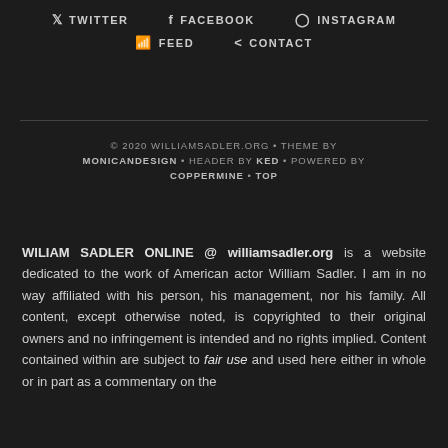TWITTER  FACEBOOK  INSTAGRAM  FEED  CONTACT
© 2020 WILLIAMSADLER.ORG • THEME BY MONICANDESIGN • HEADER BY KED • POWERED BY COPPERMINE • TOP
WILIAM SADLER ONLINE @ williamsadler.org is a website dedicated to the work of American actor William Sadler. I am in no way affiliated with his person, his management, nor his family. All content, except otherwise noted, is copyrighted to their original owners and no infringement is intended and no rights implied. Content contained within are subject to fair use and used here either in whole or in part as a commentary on the